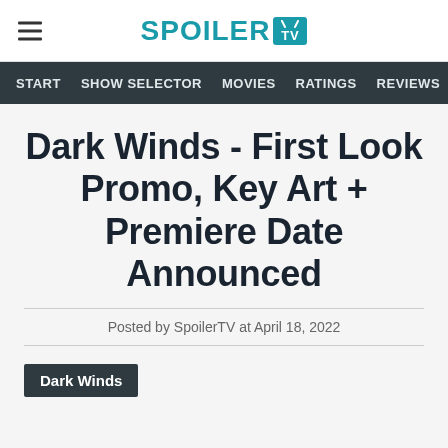SPOILER TV
START | SHOW SELECTOR | MOVIES | RATINGS | REVIEWS | POL
Dark Winds - First Look Promo, Key Art + Premiere Date Announced
Posted by SpoilerTV at April 18, 2022
Dark Winds